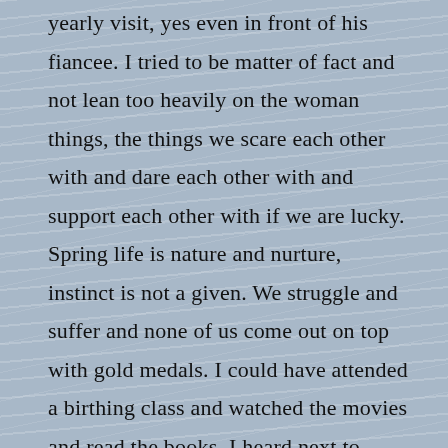yearly visit, yes even in front of his fiancee. I tried to be matter of fact and not lean too heavily on the woman things, the things we scare each other with and dare each other with and support each other with if we are lucky. Spring life is nature and nurture, instinct is not a given. We struggle and suffer and none of us come out on top with gold medals. I could have attended a birthing class and watched the movies and read the books, I heard next to nothing from living women about “the day.” And yet somehow we all figured out how to make it work. I came home with a pink fella with some dark hair on his head and his balls. He